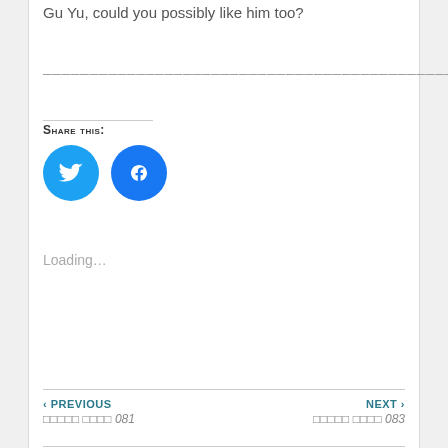Gu Yu, could you possibly like him too?
————————————————————————
Share This:
[Figure (illustration): Twitter and Facebook social share buttons as blue circles with icons]
Loading...
‹ PREVIOUS   □□□□□ □□□□ 081   NEXT ›   □□□□□ □□□□ 083